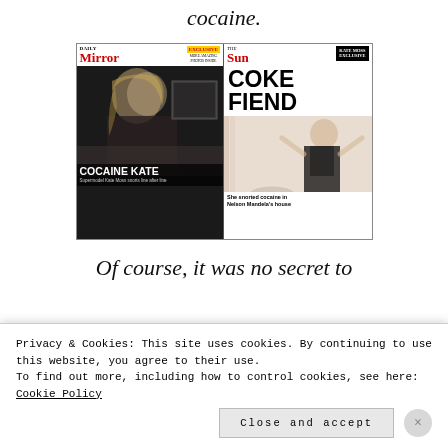cocaine.
[Figure (photo): Two newspaper front pages side by side: Daily Mirror with headline 'COCAINE KATE' and subheadline 'Supermodel Kate Moss snorts line after line', and The Sun with headline 'COKE FIEND' and caption 'She snorted cocaine in Nelson Mandela's house', both marked as EXCLUSIVE.]
Of course, it was no secret to
Privacy & Cookies: This site uses cookies. By continuing to use this website, you agree to their use.
To find out more, including how to control cookies, see here: Cookie Policy
Close and accept